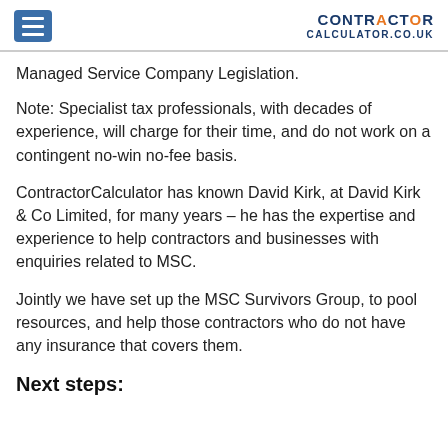CONTRACTOR CALCULATOR.CO.UK
Managed Service Company Legislation.
Note: Specialist tax professionals, with decades of experience, will charge for their time, and do not work on a contingent no-win no-fee basis.
ContractorCalculator has known David Kirk, at David Kirk & Co Limited, for many years – he has the expertise and experience to help contractors and businesses with enquiries related to MSC.
Jointly we have set up the MSC Survivors Group, to pool resources, and help those contractors who do not have any insurance that covers them.
Next steps: